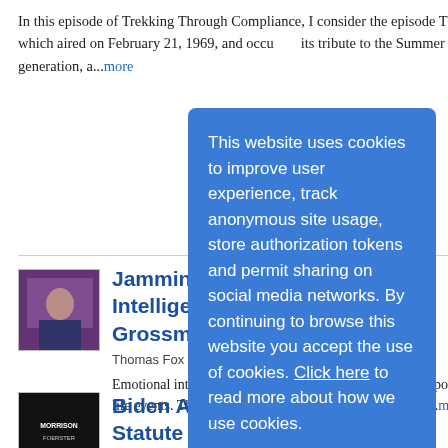In this episode of Trekking Through Compliance, I consider the episode The Way To Eden, which aired on February 21, 1969, and occu... its tribute to the Summer of... generation, a...more
[Figure (photo): Thumbnail photo of a person at what appears to be a media/broadcast setting with purple background]
Jamming with Ja... Intelligence with... Grossman
Thomas Fox - Compliance E...
Emotional intelligence reco... beings that initially respond... rationally to life events. This... tendencies allows us to igno... reactions...more
[Figure (screenshot): Cookie consent overlay popup with blue background. Text: This website uses cookies to improve user experience, track anonymous site usage, store authorization tokens and permit sharing on social media networks. By continuing to browse this website you accept the use of cookies. Click here to read more about how we use cookies. Continue button.]
[Figure (photo): Dark thumbnail image with white text logo for a publication]
Biden Administration Extends Statute of Limitations for PPP